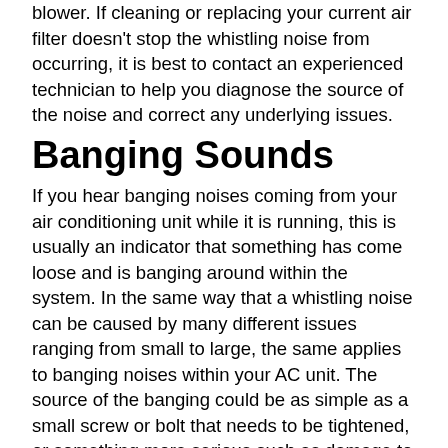blower. If cleaning or replacing your current air filter doesn't stop the whistling noise from occurring, it is best to contact an experienced technician to help you diagnose the source of the noise and correct any underlying issues.
Banging Sounds
If you hear banging noises coming from your air conditioning unit while it is running, this is usually an indicator that something has come loose and is banging around within the system. In the same way that a whistling noise can be caused by many different issues ranging from small to large, the same applies to banging noises within your AC unit. The source of the banging could be as simple as a small screw or bolt that needs to be tightened, or something more serious such as damage to the fan, compressor, or blower. A professional technician will be able to help you find the source of the banging and correct the issue.
If your current air conditioning is giving you a b